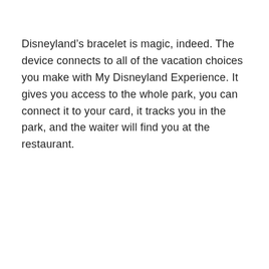Disneyland’s bracelet is magic, indeed. The device connects to all of the vacation choices you make with My Disneyland Experience. It gives you access to the whole park, you can connect it to your card, it tracks you in the park, and the waiter will find you at the restaurant.